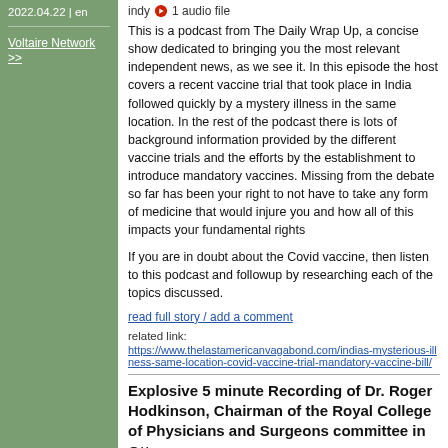2022.04.22 | en
Voltaire Network >>
indy  1 audio file
This is a podcast from The Daily Wrap Up, a concise show dedicated to bringing you the most relevant independent news, as we see it. In this episode the host covers a recent vaccine trial that took place in India followed quickly by a mystery illness in the same location. In the rest of the podcast there is lots of background information provided by the different vaccine trials and the efforts by the establishment to introduce mandatory vaccines. Missing from the debate so far has been your right to not have to take any form of medicine that would injure you and how all of this impacts your fundamental rights
If you are in doubt about the Covid vaccine, then listen to this podcast and followup by researching each of the topics discussed.
read full story / add a comment
related link:
https://www.thelastamericanvagabond.com/indias-mysterious-illness-same-location-covid-vaccine-trial-mandatory-vaccine-bill/
Explosive 5 minute Recording of Dr. Roger Hodkinson, Chairman of the Royal College of Physicians and Surgeons committee in Ottawa